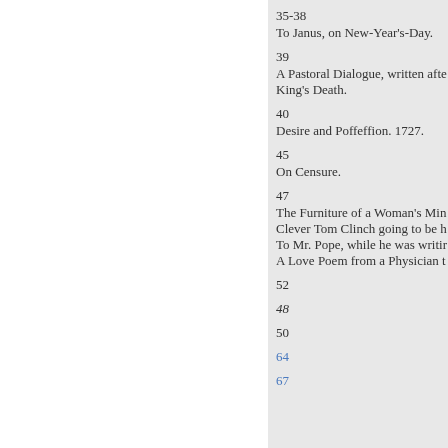35-38
To Janus, on New-Year's-Day.
39
A Pastoral Dialogue, written after King's Death.
40
Desire and Poffeffion. 1727.
45
On Censure.
47
The Furniture of a Woman's Min
Clever Tom Clinch going to be h
To Mr. Pope, while he was writir
A Love Poem from a Physician t
52
48
50
64
67